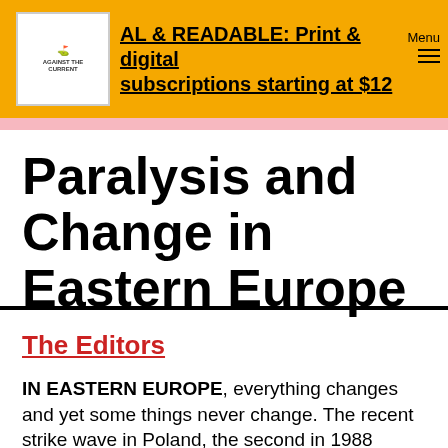AL & READABLE: Print & digital subscriptions starting at $12
Paralysis and Change in Eastern Europe
The Editors
IN EASTERN EUROPE, everything changes and yet some things never change. The recent strike wave in Poland, the second in 1988 alone, illustrates this paradox. Solidarnosc, the greatest trade union in history as well as a social movement of over ten